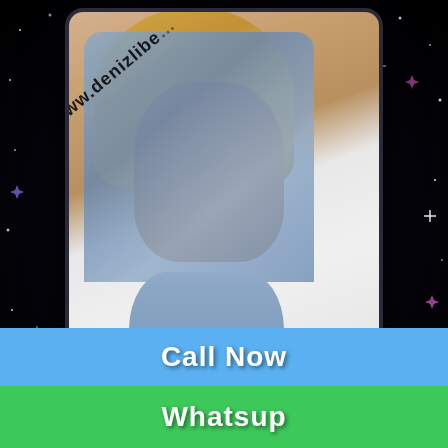[Figure (photo): Promotional escort advertisement image with a woman wearing a blue denim jacket and light blue bodysuit, with watermark text 'www.denizlibe...' overlaid diagonally. Black starry background.]
POORVI
69 EXPERT
VIP ESCORTS
Call Now
Whatsup